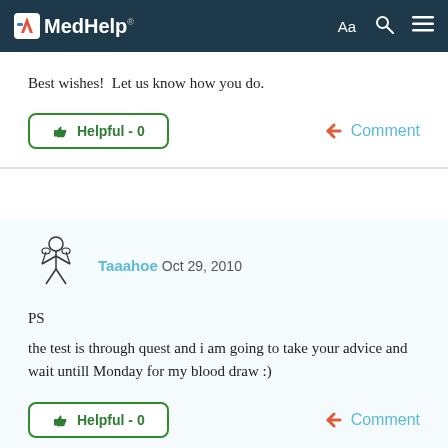MedHelp
Best wishes!  Let us know how you do.
Helpful - 0
Comment
Taaahoe Oct 29, 2010
PS
the test is through quest and i am going to take your advice and wait untill Monday for my blood draw :)
Helpful - 0
Comment